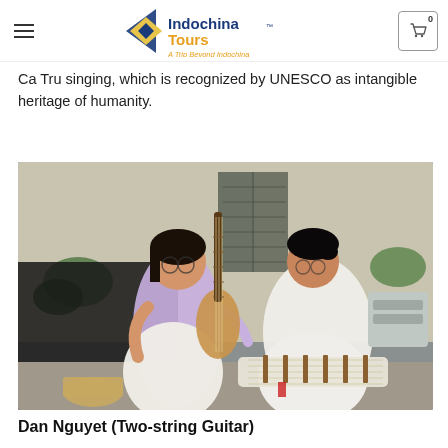Indochina Tours — A Trip Beyond Indochina
Ca Tru singing, which is recognized by UNESCO as intangible heritage of humanity.
[Figure (photo): Two Vietnamese women in traditional ao dai dress playing traditional string instruments (pipa/ty ba and dan tranh/zither) outdoors during what appears to be a music lesson or performance.]
Dan Nguyet (Two-string Guitar)